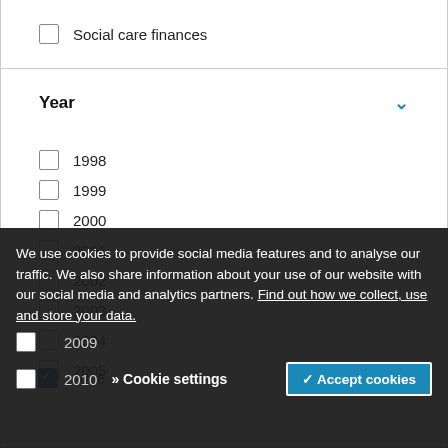Social care finances
Year
1998
1999
2000
2001
2002
2003
2004
2005
2006
We use cookies to provide social media features and to analyse our traffic. We also share information about your use of our website with our social media and analytics partners. Find out how we collect, use and store your data.
2009
2010